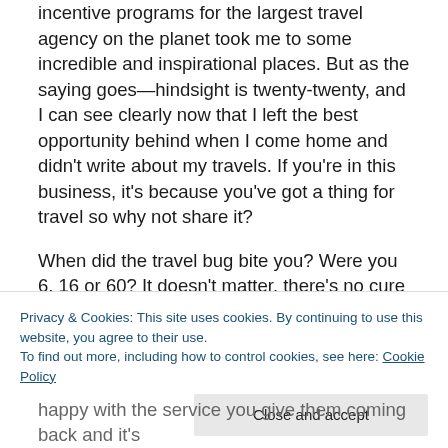incentive programs for the largest travel agency on the planet took me to some incredible and inspirational places.  But as the saying goes—hindsight is twenty-twenty, and I can see clearly now that I left the best opportunity behind when I come home and didn't write about my travels. If you're in this business, it's because you've got a thing for travel so why not share it?
When did the travel bug bite you?  Were you 6, 16 or 60?  It doesn't matter, there's no cure and if even if there were, you wouldn't want it.   What does matter is that you've got
Privacy & Cookies: This site uses cookies. By continuing to use this website, you agree to their use.
To find out more, including how to control cookies, see here: Cookie Policy
happy with the service you give them coming back and it's